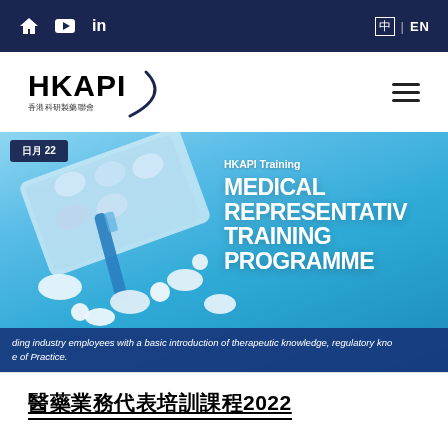Navigation bar with home, YouTube, LinkedIn icons and language selector (中 | EN)
[Figure (logo): HKAPI logo with Chinese text 香港科研製藥聯會 and arc design]
[Figure (photo): Banner image showing pharmaceutical pills and tablets on blue background with text: HKAPI Training MEDICAL REPRESENTATIVE TRAINING PROGRAMME, with date badge showing 日月 22]
ding industry employees with a basic introduction of therapeutic knowledge, regulatory kno e of Practice.
醫藥業務代表培訓課程2022